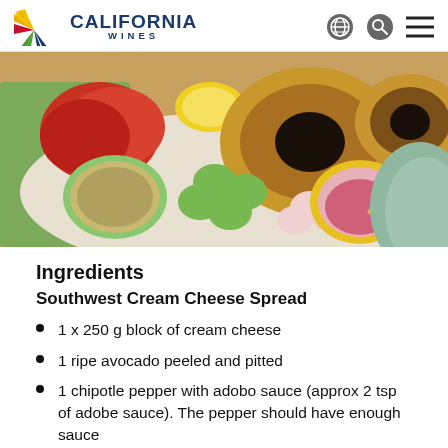CALIFORNIA WINES
[Figure (photo): Overhead view of a bagel board with sesame bagels, sliced tomatoes, cucumber slices, radishes, pickled red onions in a yellow bowl, cream cheese spread in a green bowl, lemon wedge, and green napkin on a large plate.]
Ingredients
Southwest Cream Cheese Spread
1 x 250 g block of cream cheese
1 ripe avocado peeled and pitted
1 chipotle pepper with adobo sauce (approx 2 tsp of adobe sauce). The pepper should have enough sauce